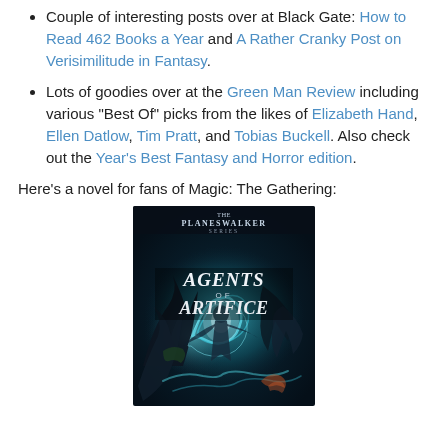Couple of interesting posts over at Black Gate: How to Read 462 Books a Year and A Rather Cranky Post on Verisimilitude in Fantasy.
Lots of goodies over at the Green Man Review including various "Best Of" picks from the likes of Elizabeth Hand, Ellen Datlow, Tim Pratt, and Tobias Buckell. Also check out the Year's Best Fantasy and Horror edition.
Here's a novel for fans of Magic: The Gathering:
[Figure (illustration): Book cover of 'Agents of Artifice' from the Planeswalker series. Fantasy artwork showing magical figures with swirling blue and teal energy against a dark background. Title text reads 'THE PLANESWALKER SERIES' at top and 'AGENTS OF ARTIFICE' prominently in the center.]